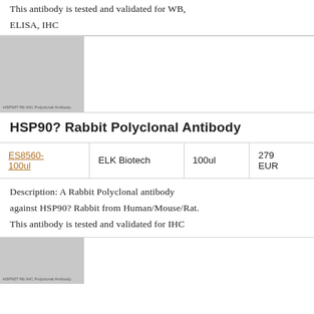This antibody is tested and validated for WB, ELISA, IHC
[Figure (photo): Product image placeholder for HSP90? Rb IHC Polyclonal Antibody]
HSP90? Rabbit Polyclonal Antibody
| Product ID | Supplier | Volume | Price |
| --- | --- | --- | --- |
| ES8560-100ul | ELK Biotech | 100ul | 279 EUR |
Description: A Rabbit Polyclonal antibody against HSP90? Rabbit from Human/Mouse/Rat. This antibody is tested and validated for IHC
[Figure (photo): Product image placeholder for HSP90? Rb IHC Polyclonal Antibody (second)]